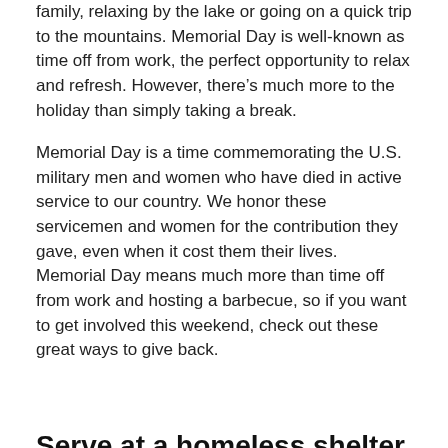family, relaxing by the lake or going on a quick trip to the mountains. Memorial Day is well-known as time off from work, the perfect opportunity to relax and refresh. However, there's much more to the holiday than simply taking a break.
Memorial Day is a time commemorating the U.S. military men and women who have died in active service to our country. We honor these servicemen and women for the contribution they gave, even when it cost them their lives. Memorial Day means much more than time off from work and hosting a barbecue, so if you want to get involved this weekend, check out these great ways to give back.
Serve at a homeless shelter.
According to the National Coalition for Homeless Veterans, approximately 11% of the current adult